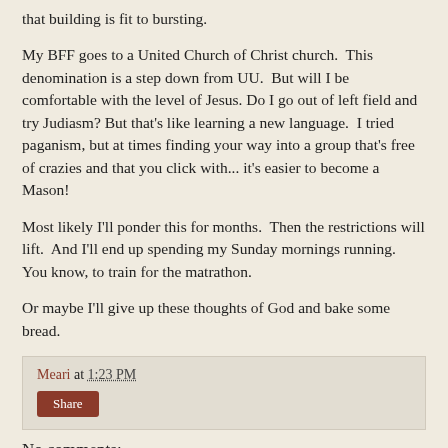that building is fit to bursting.
My BFF goes to a United Church of Christ church.  This denomination is a step down from UU.  But will I be comfortable with the level of Jesus. Do I go out of left field and try Judiasm? But that's like learning a new language.  I tried paganism, but at times finding your way into a group that's free of crazies and that you click with... it's easier to become a Mason!
Most likely I'll ponder this for months.  Then the restrictions will lift.  And I'll end up spending my Sunday mornings running.  You know, to train for the matrathon.
Or maybe I'll give up these thoughts of God and bake some bread.
Meari at 1:23 PM
Share
No comments: